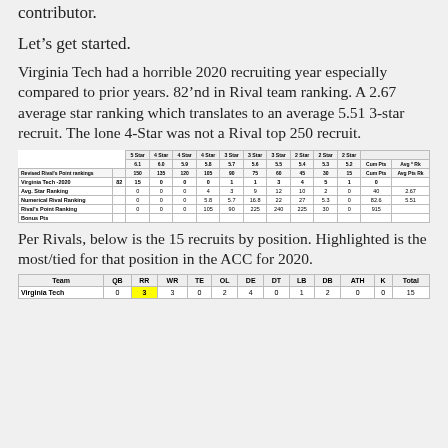contributor.
Let’s get started.
Virginia Tech had a horrible 2020 recruiting year especially compared to prior years. 82’nd in Rival team ranking. A 2.67 average star ranking which translates to an average 5.51 3-star recruit. The lone 4-Star was not a Rival top 250 recruit.
|  |  | 5 Star 6.1 | 4 Star 6.0 | 4 Star 5.9 | 4 Star 5.8 | 3 Star 5.7 | 3 Star 5.6 | 3 Star 5.5 | 2 Star 5.4 | 2 Star 5.3 | 2 Star 5.2 | Cum Pts | Avg * Rk |
| --- | --- | --- | --- | --- | --- | --- | --- | --- | --- | --- | --- | --- | --- |
|  |  | 150 | 135 | 120 | 105 | 90 | 75 | 60 | 45 | 30 | 15 | Cum Pts | Avg Pts Rk |
| Virginia Tech -2020 | 82 | 15 | 0 | 0 | 0 | 1 | 1 | 3 | 4 | 5 | 1 | 0 |  |
| Avg. Star Ranking |  |  | 0 | 0 | 0 | 4 | 3 | 9 | 12 | 10 | 2 | 0 | 40 | 2.67 |
| Numerical Rival Ranking |  |  | 0 | 0 | 0 | 5.8 | 5.7 | 16.8 | 22 | 27 | 5.3 | 0 | 82.6 | 5.51 |
| Rival's Point Ranking |  |  | 0 | 0 | 0 | 105 | 90 | 225 | 240 | 225 | 30 | 0 | 915 |  |
| Bonus Pts |  |  |  |  |  |  |  |  |  |  |  |  |  |
Per Rivals, below is the 15 recruits by position. Highlighted is the most/tied for that position in the ACC for 2020.
| Team | QB | RR | WR | TE | OL | DE | DT | LB | DB | ATH | K | Total |
| --- | --- | --- | --- | --- | --- | --- | --- | --- | --- | --- | --- | --- |
| Virginia Tech | 0 | 3 | 3 | 0 | 2 | 4 | 0 | 1 | 2 | 0 | 0 | 15 |